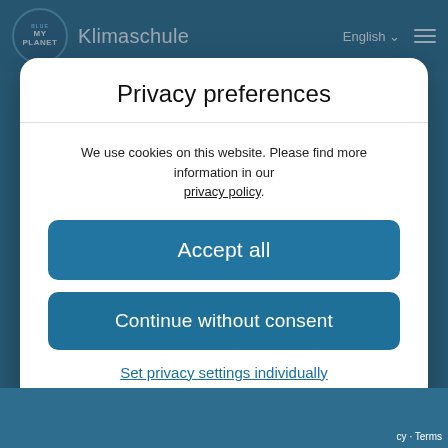My Blue Planet Klimaschule — English
Privacy preferences
We use cookies on this website. Please find more information in our privacy policy.
Accept all
Continue without consent
Set privacy settings individually
Privacy policy · Imprint
WordPress Cookie Notice by Real Cookie Banner